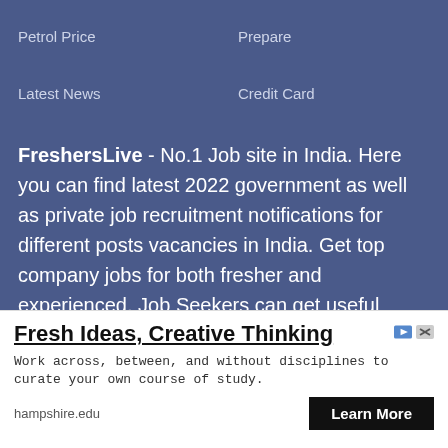Petrol Price    Prepare
Latest News    Credit Card
FreshersLive - No.1 Job site in India. Here you can find latest 2022 government as well as private job recruitment notifications for different posts vacancies in India. Get top company jobs for both fresher and experienced. Job Seekers can get useful interview tips, resume services & interview Question and answer. Practice online test free which is helpful for interview preparation. Register with us to get latest employment news/rojgar samachar notifications. Also get latest free, current and
[Figure (screenshot): Advertisement banner with title 'Fresh Ideas, Creative Thinking', body text 'Work across, between, and without disciplines to curate your own course of study.', domain 'hampshire.edu', and 'Learn More' button.]